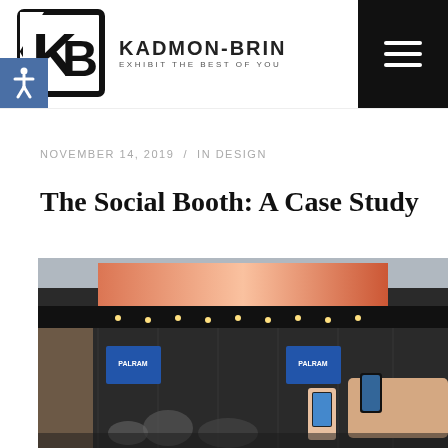KADMON-BRIN EXHIBIT THE BEST OF YOU
NOVEMBER 14, 2019 / IN DESIGN
The Social Booth: A Case Study
[Figure (photo): A trade show exhibition booth with dark wood panels, large LED display screen at the top, blue PALRAM branded signage, string lights, people gathered around tables, and hands holding a smartphone in the foreground.]